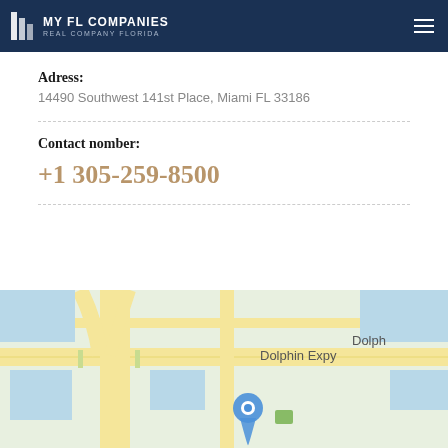MY FL COMPANIES REAL COMPANY FLORIDA
Adress:
14490 Southwest 141st Place, Miami FL 33186
Contact nomber:
+1 305-259-8500
[Figure (map): Google Maps showing Dolphin Expy in Miami, FL with a blue location pin marker]